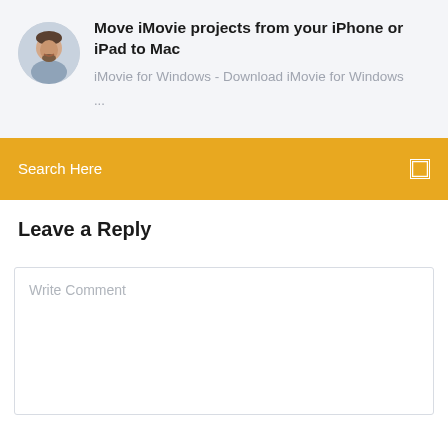[Figure (photo): Circular avatar photo of a man with short hair, smiling, on a light gray background]
Move iMovie projects from your iPhone or iPad to Mac
iMovie for Windows - Download iMovie for Windows
...
Search Here
Leave a Reply
Write Comment